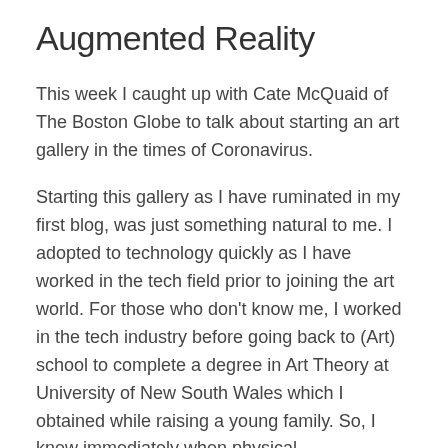Augmented Reality
This week I caught up with Cate McQuaid of The Boston Globe to talk about starting an art gallery in the times of Coronavirus.
Starting this gallery as I have ruminated in my first blog, was just something natural to me. I adopted to technology quickly as I have worked in the tech field prior to joining the art world. For those who don't know me, I worked in the tech industry before going back to (Art) school to complete a degree in Art Theory at University of New South Wales which I obtained while raising a young family. So, I knew immediately when physical